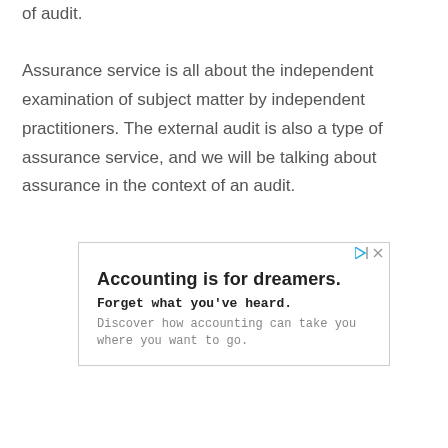of audit.
Assurance service is all about the independent examination of subject matter by independent practitioners. The external audit is also a type of assurance service, and we will be talking about assurance in the context of an audit.
[Figure (other): Advertisement box with text: 'Accounting is for dreamers. Forget what you've heard. Discover how accounting can take you where you want to go.' with play/close icons in top right corner.]